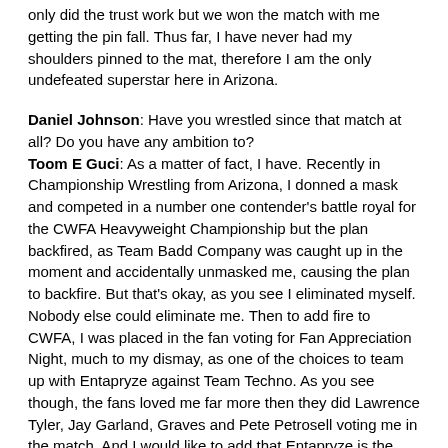only did the trust work but we won the match with me getting the pin fall. Thus far, I have never had my shoulders pinned to the mat, therefore I am the only undefeated superstar here in Arizona.
Daniel Johnson: Have you wrestled since that match at all? Do you have any ambition to?
Toom E Guci: As a matter of fact, I have. Recently in Championship Wrestling from Arizona, I donned a mask and competed in a number one contender's battle royal for the CWFA Heavyweight Championship but the plan backfired, as Team Badd Company was caught up in the moment and accidentally unmasked me, causing the plan to backfire. But that's okay, as you see I eliminated myself. Nobody else could eliminate me. Then to add fire to CWFA, I was placed in the fan voting for Fan Appreciation Night, much to my dismay, as one of the choices to team up with Entapryze against Team Techno. As you see though, the fans loved me far more then they did Lawrence Tyler, Jay Garland, Graves and Pete Petrosell voting me in the match. And I would like to add that Entapryze is the one who's shoulders were pinned to the mat, not mine! Therefore, I am the only undefeated superstar here in Arizona! I admit though, I'm better off on the outside, shouting instructions, signing the